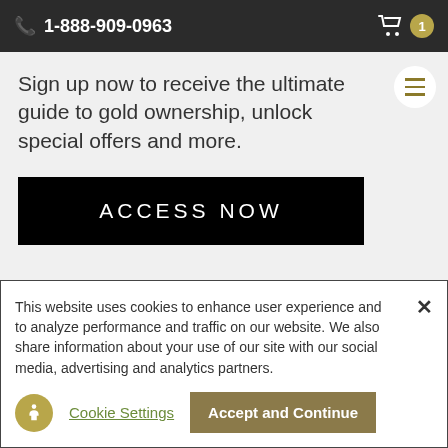1-888-909-0963
Sign up now to receive the ultimate guide to gold ownership, unlock special offers and more.
ACCESS NOW
This website uses cookies to enhance user experience and to analyze performance and traffic on our website. We also share information about your use of our site with our social media, advertising and analytics partners.
Cookie Settings
Accept and Continue